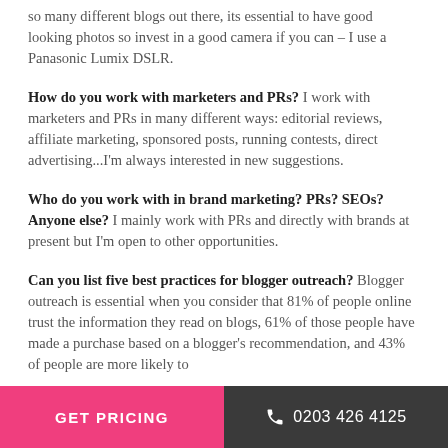so many different blogs out there, its essential to have good looking photos so invest in a good camera if you can – I use a Panasonic Lumix DSLR.
How do you work with marketers and PRs? I work with marketers and PRs in many different ways: editorial reviews, affiliate marketing, sponsored posts, running contests, direct advertising...I'm always interested in new suggestions.
Who do you work with in brand marketing? PRs? SEOs? Anyone else? I mainly work with PRs and directly with brands at present but I'm open to other opportunities.
Can you list five best practices for blogger outreach? Blogger outreach is essential when you consider that 81% of people online trust the information they read on blogs, 61% of those people have made a purchase based on a blogger's recommendation, and 43% of people are more likely to...
GET PRICING   0203 426 4125